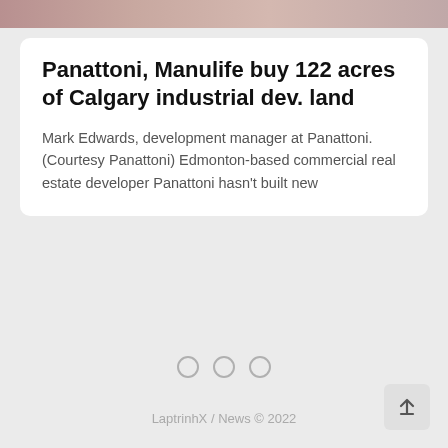[Figure (photo): Partial top image strip showing a person, cropped at the top of the page]
Panattoni, Manulife buy 122 acres of Calgary industrial dev. land
Mark Edwards, development manager at Panattoni. (Courtesy Panattoni) Edmonton-based commercial real estate developer Panattoni hasn't built new
[Figure (other): Three empty circle pagination dots]
LaptrinhX / News © 2022